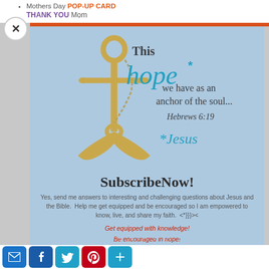Mothers Day POP-UP CARD
THANK YOU Mom
[Figure (illustration): Blue greeting card with a gold anchor illustration. Text reads: 'This hope* we have as an anchor of the soul... Hebrews 6:19' with '*Jesus' in cursive blue below.]
SubscribeNow!
Yes, send me answers to interesting and challenging questions about Jesus and the Bible. Help me get equipped and be encouraged so I am empowered to know, live, and share my faith. <*}}}><
Get equipped with knowledge!
Be encouraged in hope!
Live empowered with love!
Social share buttons: Email, Facebook, Twitter, Pinterest, Share